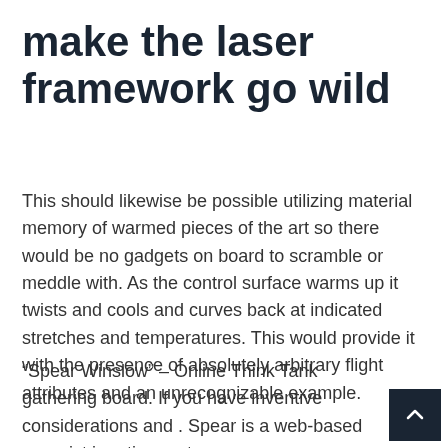make the laser framework go wild
This should likewise be possible utilizing material memory of warmed pieces of the art so there would be no gadgets on board to scramble or meddle with. As the control surface warms up it twists and cools and curves back at indicated stretches and temperatures. This would provide it with the presence of absolutely arbitrary flight attributes and an unrecognizable example.
“Spear Winslow” – Online Think Tank gathering board. If you have inventive considerations and . Spear is a web-based essayist in retirement.